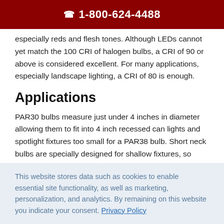☎ 1-800-624-4488
especially reds and flesh tones. Although LEDs cannot yet match the 100 CRI of halogen bulbs, a CRI of 90 or above is considered excellent. For many applications, especially landscape lighting, a CRI of 80 is enough.
Applications
PAR30 bulbs measure just under 4 inches in diameter allowing them to fit into 4 inch recessed can lights and spotlight fixtures too small for a PAR38 bulb. Short neck bulbs are specially designed for shallow fixtures, so these are often used for track lighting. Most PAR30 bulbs are UL
This website stores data such as cookies to enable essential site functionality, as well as marketing, personalization, and analytics. By remaining on this website you indicate your consent. Privacy Policy